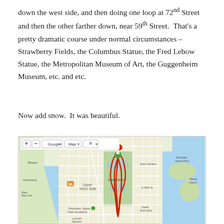down the west side, and then doing one loop at 72nd Street and then the other farther down, near 59th Street. That's a pretty dramatic course under normal circumstances – Strawberry Fields, the Columbus Statue, the Fred Lebow Statue, the Metropolitan Museum of Art, the Guggenheim Museum, etc. and etc.
Now add snow. It was beautiful.
[Figure (map): Google Maps screenshot showing a running route through Central Park, Manhattan, with a red traced path forming a loop. Map controls visible at top left including +/- zoom, Google dropdown, Map dropdown, and layers button. Map shows surrounding neighborhoods including Upper West Side, Riverside Park South, Bergen, Guttenberg, West New York, and features like E 96th St, East Harlem, Randalls Island Park, Wards Island.]